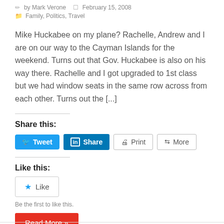by Mark Verone   February 15, 2008
Family, Politics, Travel
Mike Huckabee on my plane? Rachelle, Andrew and I are on our way to the Cayman Islands for the weekend. Turns out that Gov. Huckabee is also on his way there. Rachelle and I got upgraded to 1st class but we had window seats in the same row across from each other. Turns out the [...]
Share this:
Tweet | Share | Print | More
Like this:
Like
Be the first to like this.
Read More »